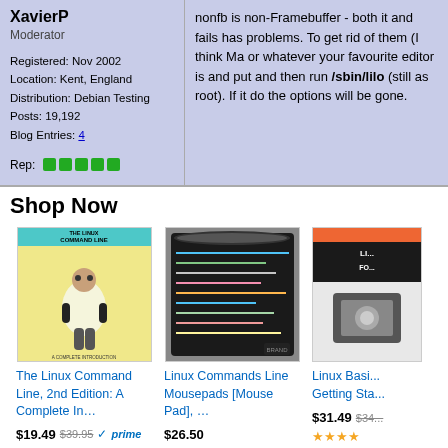XavierP
Moderator

Registered: Nov 2002
Location: Kent, England
Distribution: Debian Testing
Posts: 19,192
Blog Entries: 4

Rep: [green dots]
nonfb is non-Framebuffer - both it and fails has problems. To get rid of them (I think Ma or whatever your favourite editor is and put and then run /sbin/lilo (still as root). If it do the options will be gone.
Shop Now
[Figure (photo): Book cover: The Linux Command Line, 2nd Edition]
The Linux Command Line, 2nd Edition: A Complete In…
$19.49  $39.95  ✓prime
★★★★★ (1445)
[Figure (photo): Linux Commands Line Mousepads product image]
Linux Commands Line Mousepads [Mouse Pad], …
$26.50
★★★★½ (68)
[Figure (photo): Linux Basics Getting Started book cover - partially visible]
Linux Basi... Getting Sta...
$31.49  $34...
★★★★…